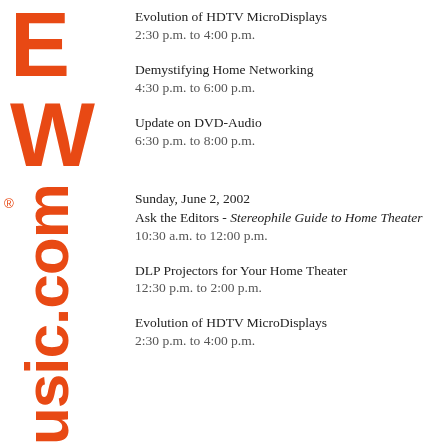[Figure (logo): Orange bold letters partial logo on left sidebar, showing partial 'E' at top and 'usic.com' text rotated vertically with registered trademark symbol]
Evolution of HDTV MicroDisplays
2:30 p.m. to 4:00 p.m.
Demystifying Home Networking
4:30 p.m. to 6:00 p.m.
Update on DVD-Audio
6:30 p.m. to 8:00 p.m.
Sunday, June 2, 2002
Ask the Editors - Stereophile Guide to Home Theater
10:30 a.m. to 12:00 p.m.
DLP Projectors for Your Home Theater
12:30 p.m. to 2:00 p.m.
Evolution of HDTV MicroDisplays
2:30 p.m. to 4:00 p.m.